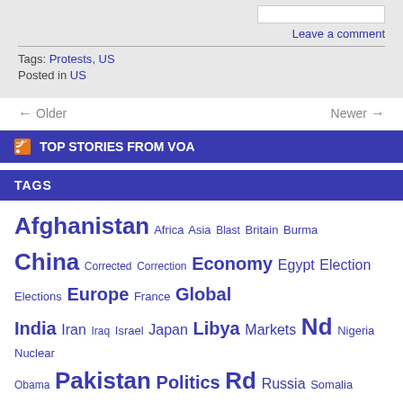Leave a comment
Tags: Protests, US
Posted in US
← Older    Newer →
TOP STORIES FROM VOA
TAGS
Afghanistan Africa Asia Blast Britain Burma China Corrected Correction Economy Egypt Election Elections Europe France Global India Iran Iraq Israel Japan Libya Markets Nd Nigeria Nuclear Obama Pakistan Politics Rd Russia Somalia South St Sudan Syria Th... Und... US V...